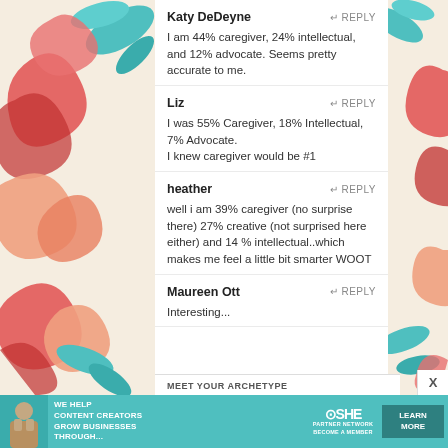Katy DeDeyne
↵ REPLY
I am 44% caregiver, 24% intellectual, and 12% advocate. Seems pretty accurate to me.
Liz
↵ REPLY
I was 55% Caregiver, 18% Intellectual, 7% Advocate.

I knew caregiver would be #1
heather
↵ REPLY
well i am 39% caregiver (no surprise there) 27% creative (not surprised here either) and 14 % intellectual..which makes me feel a little bit smarter WOOT
Maureen Ott
↵ REPLY
Interesting...
MEET YOUR ARCHETYPE
[Figure (infographic): Advertisement banner for SHE Media Partner Network: 'We help content creators grow businesses through...' with a Learn More button]
X